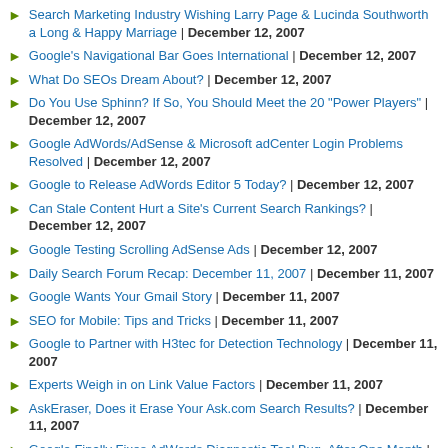Search Marketing Industry Wishing Larry Page & Lucinda Southworth a Long & Happy Marriage | December 12, 2007
Google's Navigational Bar Goes International | December 12, 2007
What Do SEOs Dream About? | December 12, 2007
Do You Use Sphinn? If So, You Should Meet the 20 "Power Players" | December 12, 2007
Google AdWords/AdSense & Microsoft adCenter Login Problems Resolved | December 12, 2007
Google to Release AdWords Editor 5 Today? | December 12, 2007
Can Stale Content Hurt a Site's Current Search Rankings? | December 12, 2007
Google Testing Scrolling AdSense Ads | December 12, 2007
Daily Search Forum Recap: December 11, 2007 | December 11, 2007
Google Wants Your Gmail Story | December 11, 2007
SEO for Mobile: Tips and Tricks | December 11, 2007
Google to Partner with H3tec for Detection Technology | December 11, 2007
Experts Weigh in on Link Value Factors | December 11, 2007
AskEraser, Does it Erase Your Ask.com Search Results? | December 11, 2007
Google Finally Fixes AdWords Diagnostic Tool Bug, After One Month | December 11, 2007
When Will New Links Impact the Search Results? | December 11, 2007
Optimizing Your Yahoo Search Marketing Campaigns After Panama Migration |